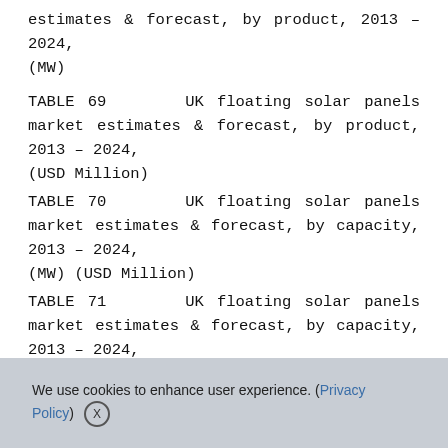estimates & forecast, by product, 2013 – 2024, (MW)
TABLE 69      UK floating solar panels market estimates & forecast, by product, 2013 – 2024, (USD Million)
TABLE 70      UK floating solar panels market estimates & forecast, by capacity, 2013 – 2024, (MW) (USD Million)
TABLE 71      UK floating solar panels market estimates & forecast, by capacity, 2013 – 2024, (MW)
TABLE 72      UK floating solar panels market estimates & forecast, by capacity, 2013 – 2024
We use cookies to enhance user experience. (Privacy Policy) X